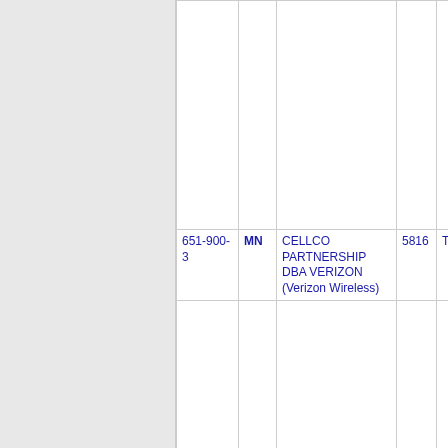| Phone | State | Company | Num | Area |
| --- | --- | --- | --- | --- |
|  |  |  |  |  |
| 651-900-3 | MN | CELLCO PARTNERSHIP DBA VERIZON (Verizon Wireless) | 5816 | TWINC |
|  |  |  |  |  |
| 651-900-4 | MN | CELLCO PARTNERSHIP DBA VERIZON (Verizon Wireless) | 5816 | TWINC |